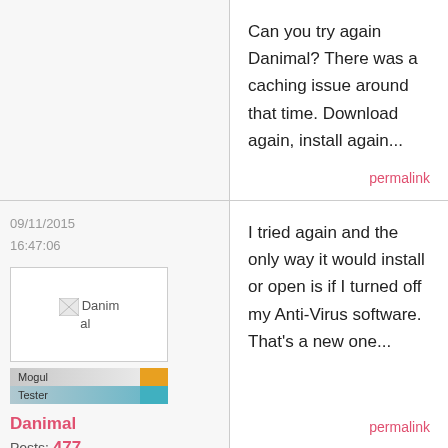Can you try again Danimal? There was a caching issue around that time. Download again, install again...
permalink
09/11/2015 16:47:06
[Figure (photo): Broken image placeholder labeled Danimal]
[Figure (infographic): Mogul Tester badge graphic]
I tried again and the only way it would install or open is if I turned off my Anti-Virus software. That's a new one...
permalink
Danimal
Posts: 477